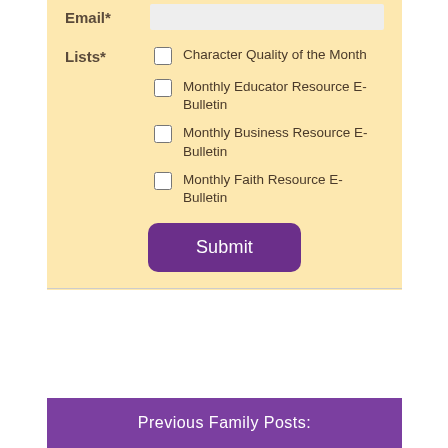Email*
Character Quality of the Month
Monthly Educator Resource E-Bulletin
Monthly Business Resource E-Bulletin
Monthly Faith Resource E-Bulletin
Submit
Previous Family Posts: